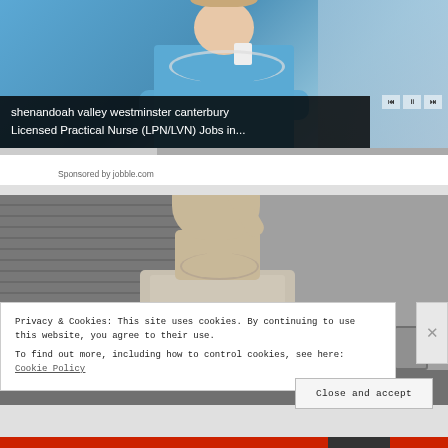[Figure (screenshot): Video advertisement showing a nurse in blue scrubs with stethoscope, with media player controls visible. Overlay text reads 'shenandoah valley westminster canterbury Licensed Practical Nurse (LPN/LVN) Jobs in...' Sponsored by jobble.com]
Sponsored by jobble.com
[Figure (photo): Black and white vintage photograph of a woman in an apron raising her hand to her forehead, appearing tired or stressed, in what appears to be a kitchen setting with venetian blinds in the background]
Privacy & Cookies: This site uses cookies. By continuing to use this website, you agree to their use.
To find out more, including how to control cookies, see here: Cookie Policy
Close and accept